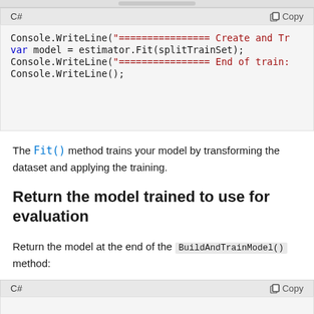[Figure (screenshot): Top partial code block header bar visible at top of page]
C#  Copy
Console.WriteLine("================ Create and Tr
var model = estimator.Fit(splitTrainSet);
Console.WriteLine("================ End of train:
Console.WriteLine();
The Fit() method trains your model by transforming the dataset and applying the training.
Return the model trained to use for evaluation
Return the model at the end of the BuildAndTrainModel() method:
C#  Copy